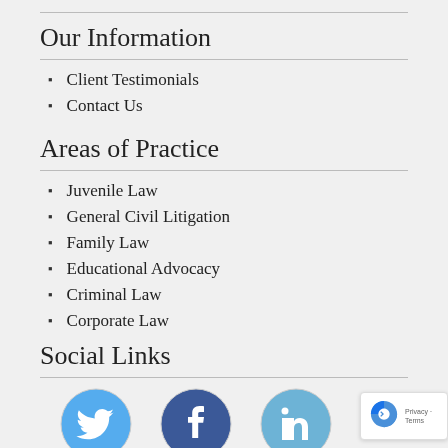Our Information
Client Testimonials
Contact Us
Areas of Practice
Juvenile Law
General Civil Litigation
Family Law
Educational Advocacy
Criminal Law
Corporate Law
Social Links
[Figure (illustration): Three social media icons: Twitter (blue bird), Facebook (dark blue f), LinkedIn (blue in). Below them is a reCAPTCHA Privacy-Terms badge.]